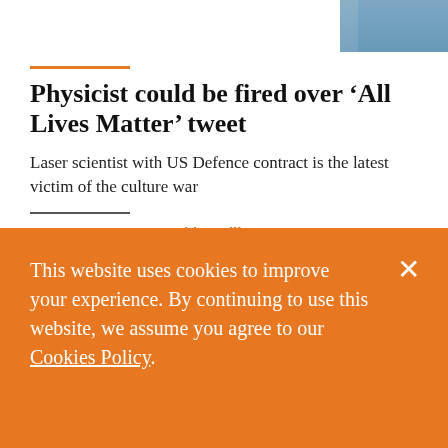[Figure (photo): Photo strip at top of page showing a person, partially cropped]
Physicist could be fired over ‘All Lives Matter’ tweet
Laser scientist with US Defence contract is the latest victim of the culture war
ARTILLERY ROW
David Scullion
This website uses cookies to improve your experience. By continuing to use this website, we assume you agree to our Cookies Policy.